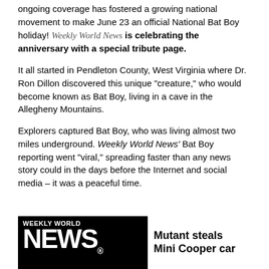ongoing coverage has fostered a growing national movement to make June 23 an official National Bat Boy holiday! Weekly World News is celebrating the anniversary with a special tribute page.
It all started in Pendleton County, West Virginia where Dr. Ron Dillon discovered this unique "creature," who would become known as Bat Boy, living in a cave in the Allegheny Mountains.
Explorers captured Bat Boy, who was living almost two miles underground. Weekly World News' Bat Boy reporting went "viral," spreading faster than any news story could in the days before the Internet and social media – it was a peaceful time.
[Figure (other): Weekly World News newspaper front page showing masthead with 'WEEKLY WORLD NEWS' logo in large bold white text on black background, with headline 'Mutant steals Mini Cooper car' on white right side]